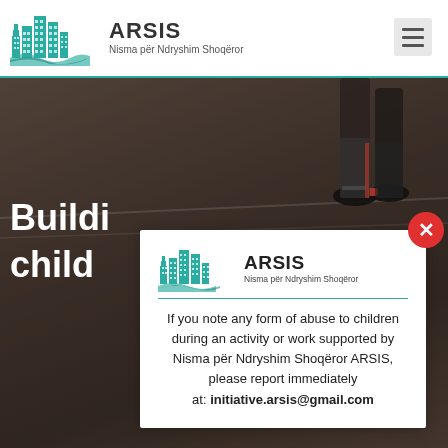[Figure (logo): ARSIS logo with teal city skyline graphic and text 'ARSIS Nisma për Ndryshim Shoqëror' in header]
[Figure (photo): Background photo showing person's legs/feet on a court, dark brownish toned photo]
Buildi
child
[Figure (logo): ARSIS logo inside modal popup with teal city skyline graphic and text 'ARSIS Nisma për Ndryshim Shoqëror']
If you note any form of abuse to children during an activity or work supported by Nisma për Ndryshim Shoqëror ARSIS, please report immediately at: initiative.arsis@gmail.com